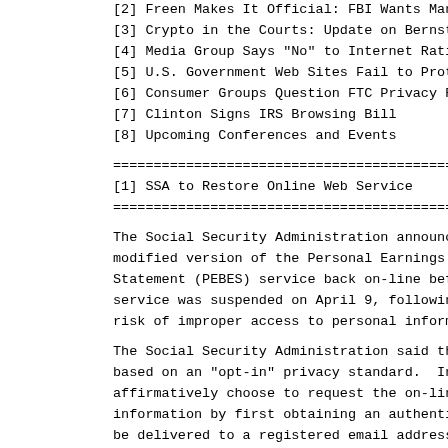[2] Freen Makes It Official: FBI Wants Mandatory Ke
[3] Crypto in the Courts: Update on Bernstein, Karn
[4] Media Group Says "No" to Internet Ratings
[5] U.S. Government Web Sites Fail to Protect Priva
[6] Consumer Groups Question FTC Privacy Report
[7] Clinton Signs IRS Browsing Bill
[8] Upcoming Conferences and Events
[1] SSA to Restore Online Web Service
The Social Security Administration announced today i modified version of the Personal Earnings and Benefi Statement (PEBES) service back on-line before the en service was suspended on April 9, following public c risk of improper access to personal information hel
The Social Security Administration said that the ne based on an "opt-in" privacy standard.  Individuals affirmatively choose to request the on-line delivery information by first obtaining an authentication co be delivered to a registered email address.  Record who did not request the code would not be available
The SSA also said that it would limit the amount of available on-line.  Payment records would not be ac web site, although they will still be sent by the U
Privacy experts expressed support for the SSA recom